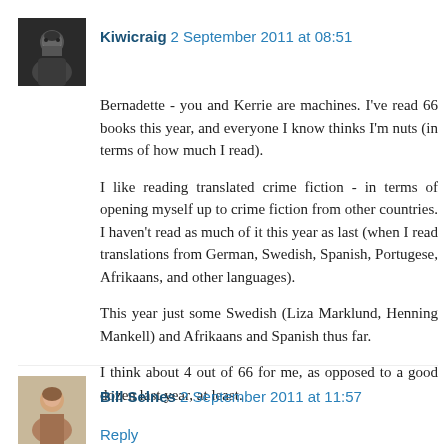[Figure (photo): Avatar photo of Kiwicraig - a bearded man in dark clothing]
Kiwicraig 2 September 2011 at 08:51
Bernadette - you and Kerrie are machines. I've read 66 books this year, and everyone I know thinks I'm nuts (in terms of how much I read).
I like reading translated crime fiction - in terms of opening myself up to crime fiction from other countries. I haven't read as much of it this year as last (when I read translations from German, Swedish, Spanish, Portugese, Afrikaans, and other languages).
This year just some Swedish (Liza Marklund, Henning Mankell) and Afrikaans and Spanish thus far.
I think about 4 out of 66 for me, as opposed to a good dozen last year, at least.
Reply
[Figure (photo): Avatar photo of Bill Selnes - partially visible at bottom]
Bill Selnes 2 September 2011 at 11:57